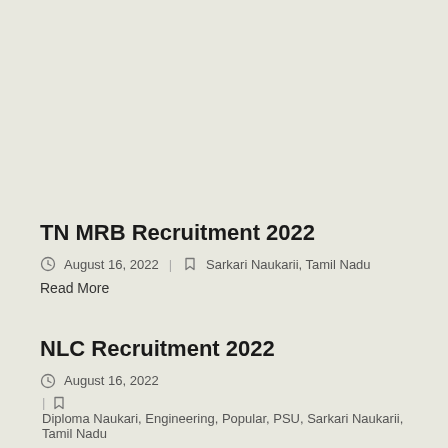TN MRB Recruitment 2022
August 16, 2022 | Sarkari Naukarii, Tamil Nadu
Read More
NLC Recruitment 2022
August 16, 2022
| Diploma Naukari, Engineering, Popular, PSU, Sarkari Naukarii, Tamil Nadu
Read More